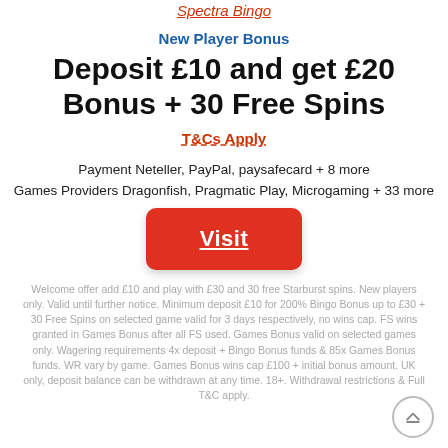Spectra Bingo
New Player Bonus
Deposit £10 and get £20 Bonus + 30 Free Spins
T&Cs Apply
Payment Neteller, PayPal, paysafecard + 8 more
Games Providers Dragonfish, Pragmatic Play, Microgaming + 33 more
Visit
Welcome offer add £10 and play with £30 and 30 free Starburst spins. New players only. Valid until further notice. Minimum deposit £10 for 200% Bingo Bonus up to £30 + 30 Free Spins on selected game valid for 3 days respectively, no wins cap. FS wins granted in Games Bonus after all FS used. Games Bonus valid on selected games only. Wagering requirements 4x deposit + Bingo Bonus funds & 85x Games Bonus funds. WR vary by game. Games Bonus wins cap £100 + initial bonus amount. UK only, deposit balance can be withdrawn at any time. 18+. Withdrawal restrictions & Full T&C apply.